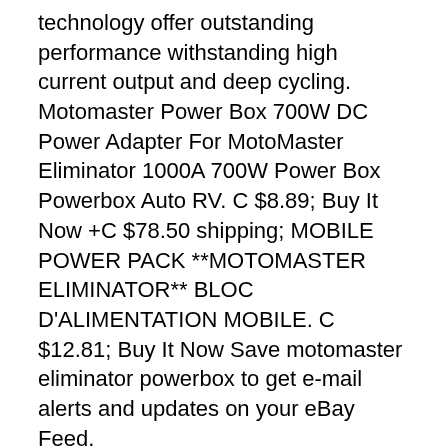technology offer outstanding performance withstanding high current output and deep cycling. Motomaster Power Box 700W DC Power Adapter For MotoMaster Eliminator 1000A 700W Power Box Powerbox Auto RV. C $8.89; Buy It Now +C $78.50 shipping; MOBILE POWER PACK **MOTOMASTER ELIMINATOR** BLOC D'ALIMENTATION MOBILE. C $12.81; Buy It Now Save motomaster eliminator powerbox to get e-mail alerts and updates on your eBay Feed.
MotoMaster Nautilus Aluminum Worklight, 12.49, 24.99, 50% Eliminator 1000A/700W Power Box, 169.99, 289.99, 41% Two Pack Flush Mount